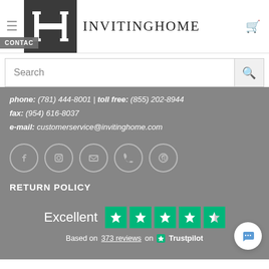[Figure (logo): InvitingHome logo with IH monogram in dark box and brand name text]
[Figure (screenshot): Search bar with magnifying glass icon]
phone: (781) 444-8001 | toll free: (855) 202-8944
fax: (954) 616-8037
e-mail: customerservice@invitinghome.com
[Figure (infographic): Social media icons: Facebook, Instagram, Email, Phone, Pinterest]
RETURN POLICY
[Figure (infographic): Trustpilot rating: Excellent 4.5 stars based on 373 reviews]